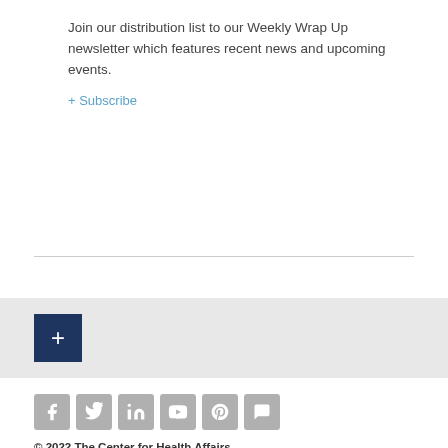Join our distribution list to our Weekly Wrap Up newsletter which features recent news and upcoming events.
+ Subscribe
[Figure (other): Dark navy blue square button with a white plus (+) symbol]
[Figure (other): Row of six grey social media icons: Facebook, Twitter, LinkedIn, YouTube, Pinterest, and a chat/comment icon]
© 2022 The Center for Health Affairs
1226 Huron Road East | Cleveland , OH 44115